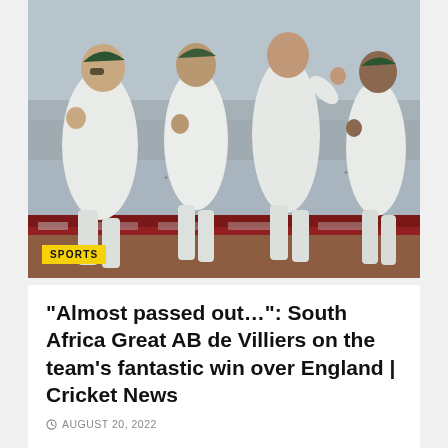[Figure (photo): South Africa cricket players celebrating a win, wearing white test cricket uniforms with green caps, pumping fists and cheering on a cricket ground]
“Almost passed out…”: South Africa Great AB de Villiers on the team’s fantastic win over England | Cricket News
AUGUST 20, 2022